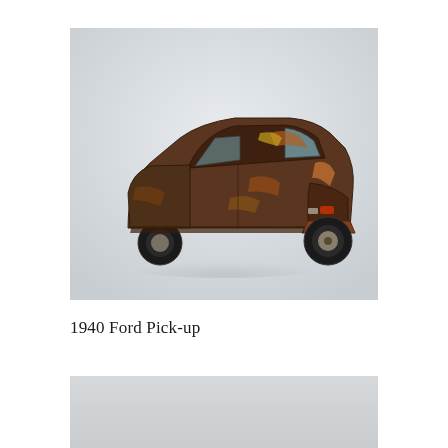[Figure (photo): A model/toy car of a 1940 Ford Pick-up, heavily weathered with rust and peeling paint in brown and grey tones, photographed from a rear three-quarter angle on a light grey/white background.]
1940 Ford Pick-up
[Figure (photo): Bottom portion of another photo, showing a light grey background (partial view, content cropped).]